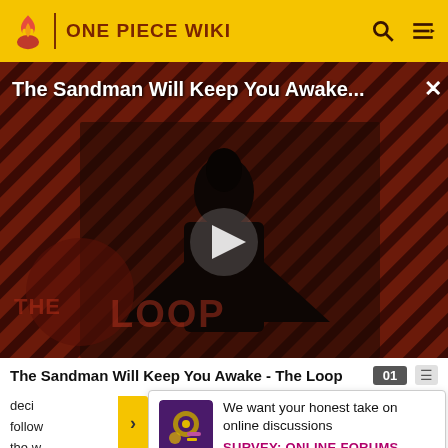ONE PIECE WIKI
[Figure (screenshot): Video thumbnail for 'The Sandman Will Keep You Awake - The Loop' showing a dark-clad figure against a diagonal striped red/dark background with THE LOOP logo and a play button overlay]
The Sandman Will Keep You Awake - The Loop
deci
follow
the w
[Figure (infographic): Survey banner with purple/yellow icon asking 'We want your honest take on online discussions' with link 'SURVEY: ONLINE FORUMS']
We want your honest take on online discussions
SURVEY: ONLINE FORUMS
On